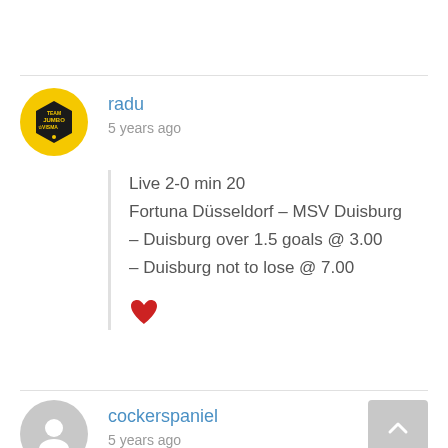[Figure (illustration): Yellow circular avatar with Team Jumbo-Visma hexagon logo]
radu
5 years ago
Live 2-0 min 20
Fortuna Düsseldorf – MSV Duisburg
– Duisburg over 1.5 goals @ 3.00
– Duisburg not to lose @ 7.00
[Figure (illustration): Red heart emoji/icon]
[Figure (illustration): Gray circular avatar with person silhouette]
cockerspaniel
5 years ago
Dusseldorf v Duisburg Penalty awarded 3/1. Winner after 12 Min wish they were all that